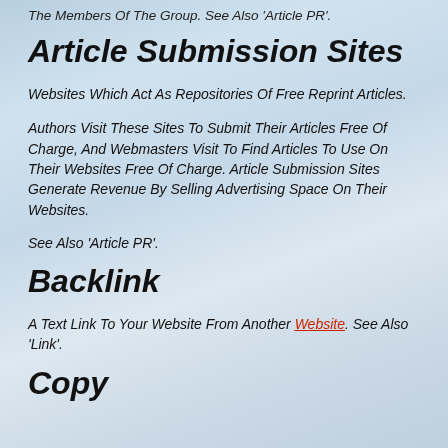The Members Of The Group. See Also 'Article PR'.
Article Submission Sites
Websites Which Act As Repositories Of Free Reprint Articles.
Authors Visit These Sites To Submit Their Articles Free Of Charge, And Webmasters Visit To Find Articles To Use On Their Websites Free Of Charge. Article Submission Sites Generate Revenue By Selling Advertising Space On Their Websites.
See Also 'Article PR'.
Backlink
A Text Link To Your Website From Another Website. See Also 'Link'.
Copy